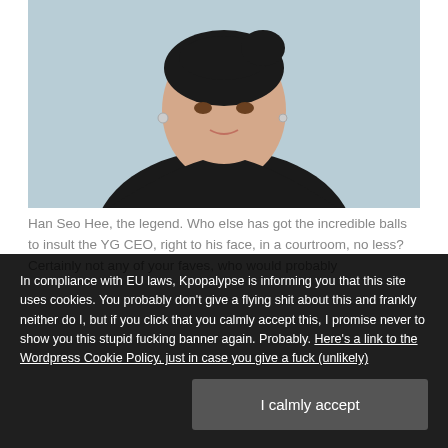[Figure (photo): Portrait photo of Han Seo Hee, a young Asian woman with hair up, wearing a black top, against a light blue background]
Han Seo Hee, the legend. Who else has got the incredible balls to insult the YG CEO, right to his face, in a courtroom, no less? Certainly not any of your faves, who would probably
In compliance with EU laws, Kpopalypse is informing you that this site uses cookies. You probably don't give a flying shit about this and frankly neither do I, but if you click that you calmly accept this, I promise never to show you this stupid fucking banner again. Probably. Here's a link to the Wordpress Cookie Policy, just in case you give a fuck (unlikely)
I calmly accept